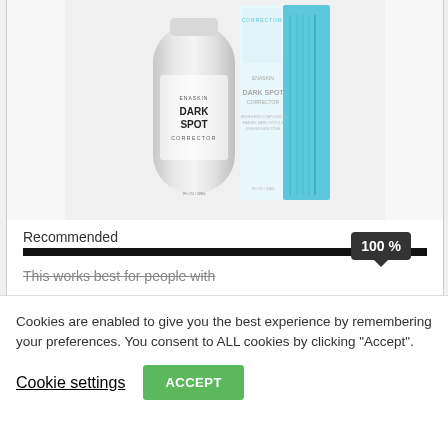[Figure (photo): Product photo of EnarSkin Dark Spot Corrector - a white cylindrical bottle next to its light blue and white product box packaging]
Recommended
100 %
This works best for people with
Cookies are enabled to give you the best experience by remembering your preferences. You consent to ALL cookies by clicking "Accept".
Cookie settings
ACCEPT